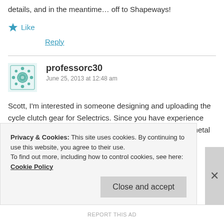details, and in the meantime… off to Shapeways!
★ Like
Reply
professorc30
June 25, 2013 at 12:48 am
Scott, I'm interested in someone designing and uploading the cycle clutch gear for Selectrics. Since you have experience with this, would you be interested in giving it a try? The metal hub needs to
Privacy & Cookies: This site uses cookies. By continuing to use this website, you agree to their use.
To find out more, including how to control cookies, see here: Cookie Policy
Close and accept